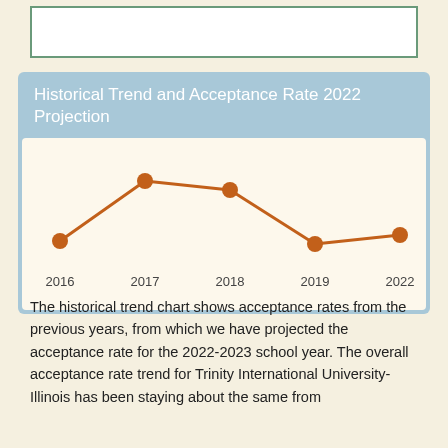[Figure (line-chart): Historical Trend and Acceptance Rate 2022 Projection]
The historical trend chart shows acceptance rates from the previous years, from which we have projected the acceptance rate for the 2022-2023 school year. The overall acceptance rate trend for Trinity International University-Illinois has been staying about the same from